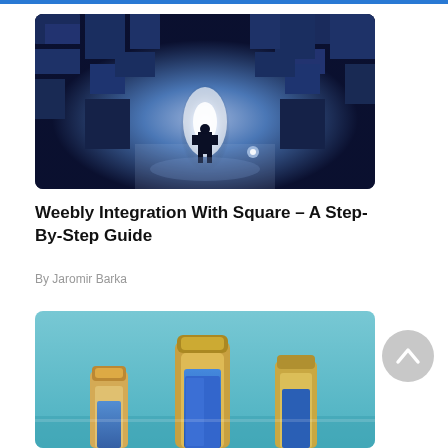[Figure (photo): A person standing at the entrance of a glowing maze, viewed from behind, with blue-tinted 3D maze walls surrounding the illuminated corridor.]
Weebly Integration With Square – A Step-By-Step Guide
By Jaromir Barka
[Figure (photo): Close-up of small glass vials or bottles with blue liquid on a teal/light blue background.]